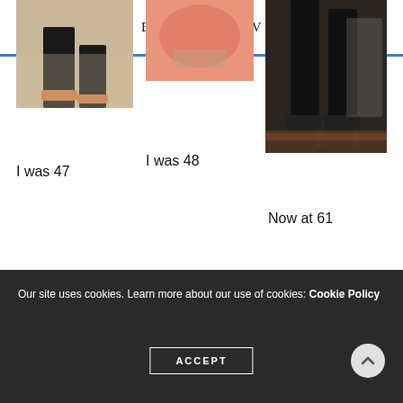Best of 2017 Part IV
[Figure (photo): Photo of person's feet/legs at age 47]
I was 47
[Figure (photo): Photo of person at age 48, pink top with bracelet visible]
I was 48
[Figure (photo): Photo of person's legs in heeled boots, age 61]
Now at 61
I wish the same good health and an active body for you and those you love. Changing your diet can indeed change your life.
Our site uses cookies. Learn more about our use of cookies: Cookie Policy
ACCEPT